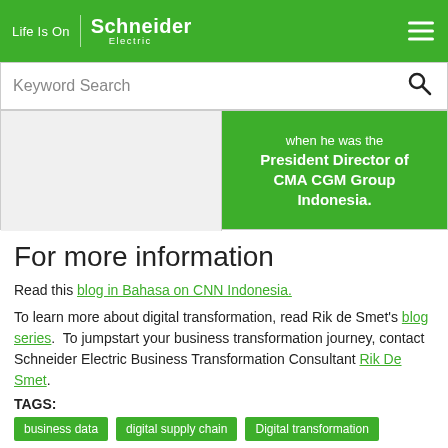Life Is On | Schneider Electric
Keyword Search
[Figure (screenshot): Green box with partial quote text: 'when he was the President Director of CMA CGM Group Indonesia.' with a white bordered image placeholder on the left.]
For more information
Read this blog in Bahasa on CNN Indonesia.
To learn more about digital transformation, read Rik de Smet's blog series.  To jumpstart your business transformation journey, contact Schneider Electric Business Transformation Consultant Rik De Smet.
TAGS:
business data
digital supply chain
Digital transformation